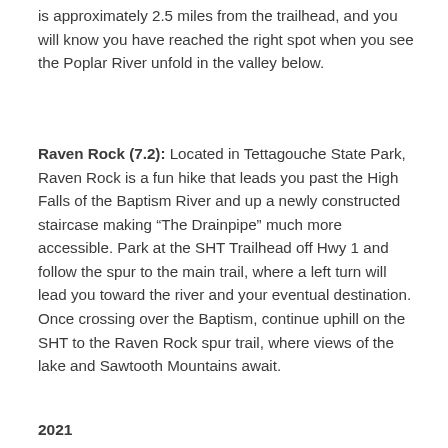is approximately 2.5 miles from the trailhead, and you will know you have reached the right spot when you see the Poplar River unfold in the valley below.
Raven Rock (7.2): Located in Tettagouche State Park, Raven Rock is a fun hike that leads you past the High Falls of the Baptism River and up a newly constructed staircase making "The Drainpipe" much more accessible. Park at the SHT Trailhead off Hwy 1 and follow the spur to the main trail, where a left turn will lead you toward the river and your eventual destination. Once crossing over the Baptism, continue uphill on the SHT to the Raven Rock spur trail, where views of the lake and Sawtooth Mountains await.
2021